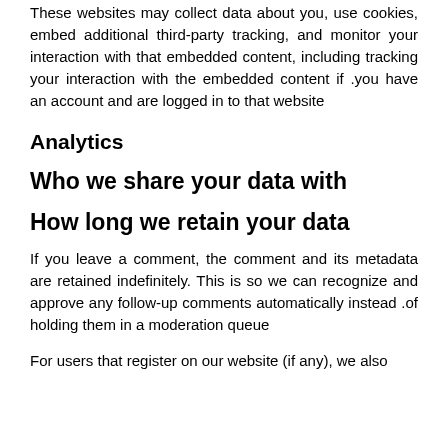These websites may collect data about you, use cookies, embed additional third-party tracking, and monitor your interaction with that embedded content, including tracking your interaction with the embedded content if you have an account and are logged in to that website.
Analytics
Who we share your data with
How long we retain your data
If you leave a comment, the comment and its metadata are retained indefinitely. This is so we can recognize and approve any follow-up comments automatically instead of holding them in a moderation queue.
For users that register on our website (if any), we also